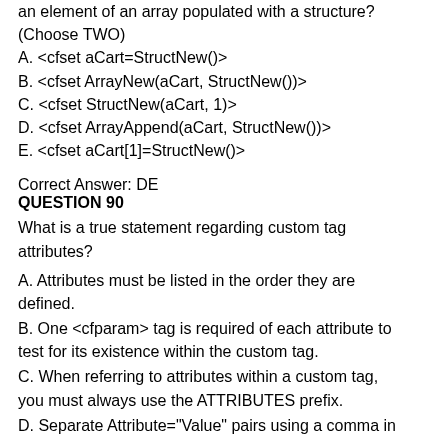an element of an array populated with a structure? (Choose TWO)
A. <cfset aCart=StructNew()>
B. <cfset ArrayNew(aCart, StructNew())>
C. <cfset StructNew(aCart, 1)>
D. <cfset ArrayAppend(aCart, StructNew())>
E. <cfset aCart[1]=StructNew()>
Correct Answer: DE
QUESTION 90
What is a true statement regarding custom tag attributes?
A. Attributes must be listed in the order they are defined.
B. One <cfparam> tag is required of each attribute to test for its existence within the custom tag.
C. When referring to attributes within a custom tag, you must always use the ATTRIBUTES prefix.
D. Separate Attribute="Value" pairs using a comma in